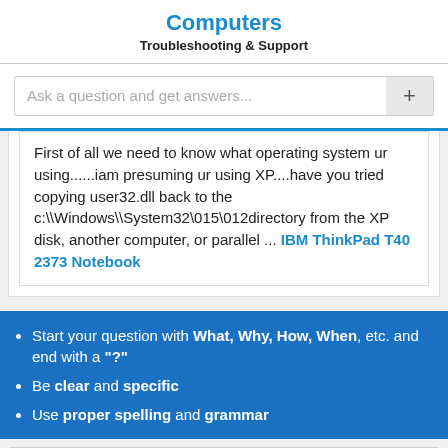Computers
Troubleshooting & Support
[Figure (screenshot): Search input box with placeholder 'Ask a question and get answers...' and a plus button on the right]
First of all we need to know what operating system ur using......iam presuming ur using XP....have you tried copying user32.dll back to the c:\Windows\System32\015\012directory from the XP disk, another computer, or parallel ... IBM ThinkPad T40 2373 Notebook
Start your question with What, Why, How, When, etc. and end with a "?"
Be clear and specific
Use proper spelling and grammar
Ask your question (How do i fix ...)